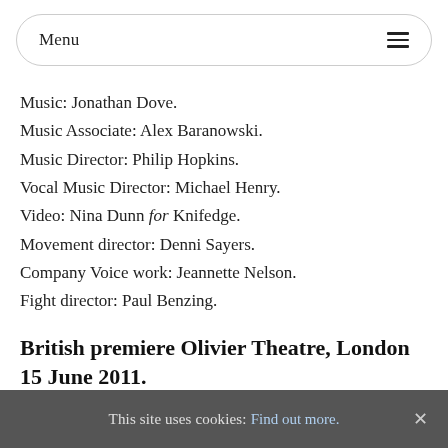Menu
Music: Jonathan Dove.
Music Associate: Alex Baranowski.
Music Director: Philip Hopkins.
Vocal Music Director: Michael Henry.
Video: Nina Dunn for Knifedge.
Movement director: Denni Sayers.
Company Voice work: Jeannette Nelson.
Fight director: Paul Benzing.
British premiere Olivier Theatre, London 15 June 2011.
This site uses cookies: Find out more.